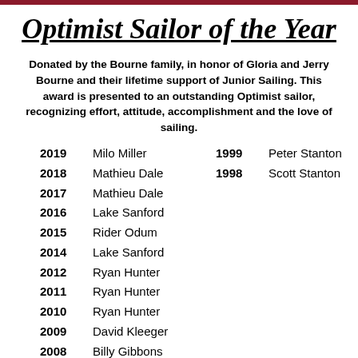Optimist Sailor of the Year
Donated by the Bourne family, in honor of Gloria and Jerry Bourne and their lifetime support of Junior Sailing. This award is presented to an outstanding Optimist sailor, recognizing effort, attitude, accomplishment and the love of sailing.
2019  Milo Miller
2018  Mathieu Dale
2017  Mathieu Dale
2016  Lake Sanford
2015  Rider Odum
2014  Lake Sanford
2012  Ryan Hunter
2011  Ryan Hunter
2010  Ryan Hunter
2009  David Kleeger
2008  Billy Gibbons
1999  Peter Stanton
1998  Scott Stanton